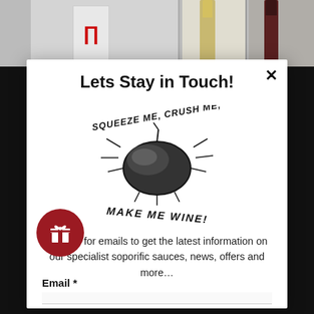[Figure (photo): Top strip showing wine bottle product images partially visible behind modal]
Lets Stay in Touch!
[Figure (illustration): Hand-drawn illustration of a grape with text: SQUEEZE ME, CRUSH ME, MAKE ME WINE!]
Sign up for emails to get the latest information on our specialist soporific sauces, news, offers and more…
Email *